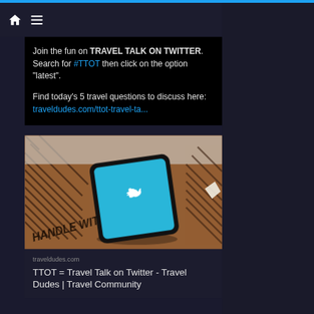Navigation bar with home, menu, search, and shuffle icons
Join the fun on TRAVEL TALK ON TWITTER. Search for #TTOT then click on the option "latest".

Find today's 5 travel questions to discuss here: traveldudes.com/ttot-travel-ta...
[Figure (photo): Smartphone with Twitter bird logo on screen, lying on a cardboard box labeled HANDLE WITH CARE]
traveldudes.com
TTOT = Travel Talk on Twitter - Travel Dudes | Travel Community